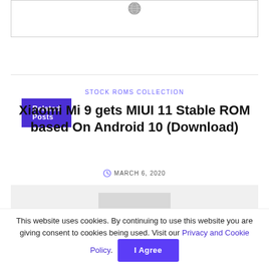[Figure (other): Top image area with a globe/settings icon at the top center, inside a bordered box]
Related Posts
STOCK ROMS COLLECTION
Xiaomi Mi 9 gets MIUI 11 Stable ROM based On Android 10 (Download)
MARCH 6, 2020
[Figure (photo): Article thumbnail image placeholder with grey background]
This website uses cookies. By continuing to use this website you are giving consent to cookies being used. Visit our Privacy and Cookie Policy.